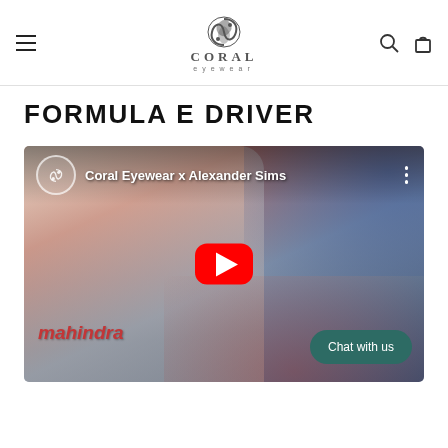CORAL eyewear — navigation header
FORMULA E DRIVER
[Figure (screenshot): YouTube video thumbnail showing 'Coral Eyewear x Alexander Sims' — a Formula E driver in a Mahindra racing suit wearing red sunglasses, with a YouTube play button overlay and the Coral Eyewear logo in the top-left of the video.]
Chat with us